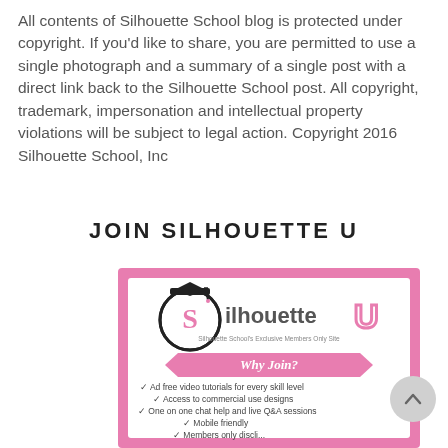All contents of Silhouette School blog is protected under copyright. If you'd like to share, you are permitted to use a single photograph and a summary of a single post with a direct link back to the Silhouette School post. All copyright, trademark, impersonation and intellectual property violations will be subject to legal action. Copyright 2016 Silhouette School, Inc
JOIN SILHOUETTE U
[Figure (infographic): Silhouette U promotional banner with pink border. Shows 'Silhouette U' logo with graduation cap, tagline 'Silhouette School's Exclusive Members Only Site', pink ribbon saying 'Why Join?', and bullet points: Ad free video tutorials for every skill level, Access to commercial use designs, One on one chat help and live Q&A sessions, Mobile friendly, and more partially visible.]